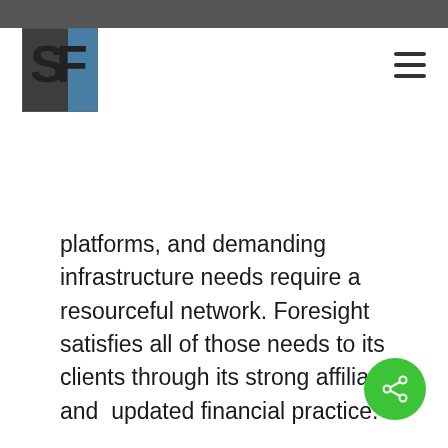[Figure (logo): SF logo: dark square background with stylized S and F letters, blue accent on right side]
platforms, and demanding infrastructure needs require a resourceful network. Foresight satisfies all of those needs to its clients through its strong affiliation and  updated financial practice.
Beyond his financial practice, Mr. Tokar is a master SCUBA diving instructor and a member of PADI, the  Professional Association of Diving Instructors.